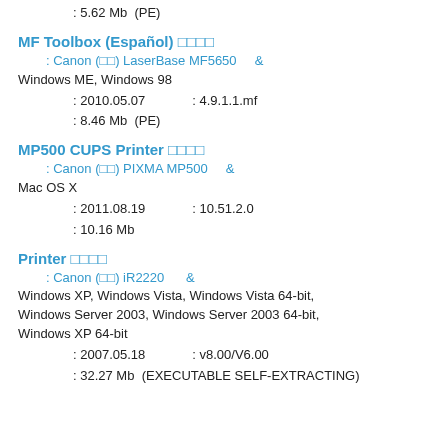: 5.62 Mb  (PE)
MF Toolbox (Español) □□□□
: Canon (□□) LaserBase MF5650    & Windows ME, Windows 98
: 2010.05.07           : 4.9.1.1.mf
: 8.46 Mb  (PE)
MP500 CUPS Printer □□□□
: Canon (□□) PIXMA MP500    & Mac OS X
: 2011.08.19           : 10.51.2.0
: 10.16 Mb
Printer □□□□
: Canon (□□) iR2220    & Windows XP, Windows Vista, Windows Vista 64-bit, Windows Server 2003, Windows Server 2003 64-bit, Windows XP 64-bit
: 2007.05.18           : v8.00/V6.00
: 32.27 Mb  (EXECUTABLE SELF-EXTRACTING)